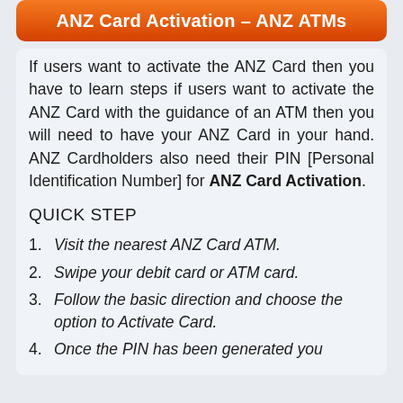ANZ Card Activation – ANZ ATMs
If users want to activate the ANZ Card then you have to learn steps if users want to activate the ANZ Card with the guidance of an ATM then you will need to have your ANZ Card in your hand. ANZ Cardholders also need their PIN [Personal Identification Number] for ANZ Card Activation.
QUICK STEP
Visit the nearest ANZ Card ATM.
Swipe your debit card or ATM card.
Follow the basic direction and choose the option to Activate Card.
Once the PIN has been generated you